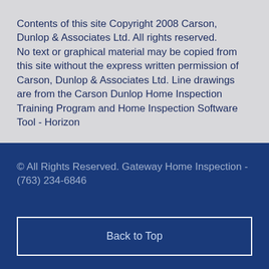Contents of this site Copyright 2008 Carson, Dunlop & Associates Ltd. All rights reserved. No text or graphical material may be copied from this site without the express written permission of Carson, Dunlop & Associates Ltd. Line drawings are from the Carson Dunlop Home Inspection Training Program and Home Inspection Software Tool - Horizon
© All Rights Reserved. Gateway Home Inspection - (763) 234-6846
Back to Top